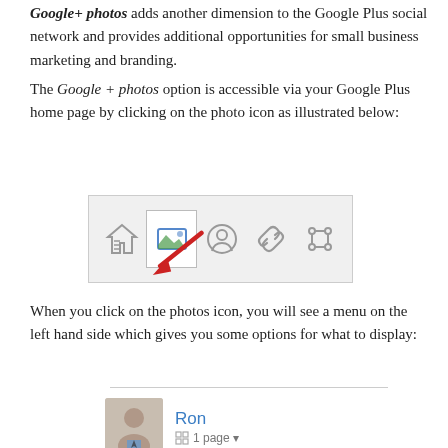Google+ photos adds another dimension to the Google Plus social network and provides additional opportunities for small business marketing and branding.
The Google + photos option is accessible via your Google Plus home page by clicking on the photo icon as illustrated below:
[Figure (screenshot): Screenshot of a Google+ navigation toolbar showing icons: home/list icon, photo icon (highlighted with red arrow pointing to it), person/circle icon, link icon, and share icon.]
When you click on the photos icon, you will see a menu on the left hand side which gives you some options for what to display:
[Figure (screenshot): Footer area with a horizontal divider line and a profile section showing a photo of Ron with the text 'Ron' and '1 page' below.]